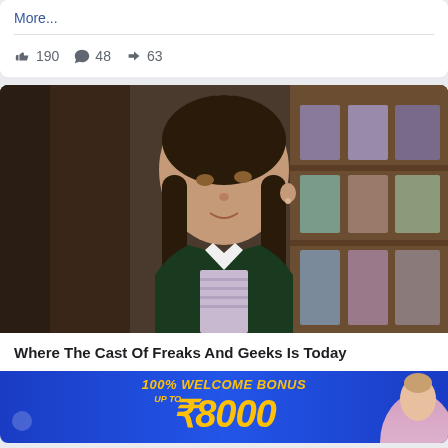More...
190  48  63
[Figure (photo): A young teenage girl with long dark braided hair, wearing a dark green velvet blazer over a patterned sweater with a white collar. She is standing in front of a bookshelf with framed photos. Scene appears to be from a TV show or film.]
Where The Cast Of Freaks And Geeks Is Today
[Figure (infographic): Advertisement banner: blue background with yellow italic text '100% WELCOME BONUS' and large '₹8000', with a partial image of a woman on the right side.]